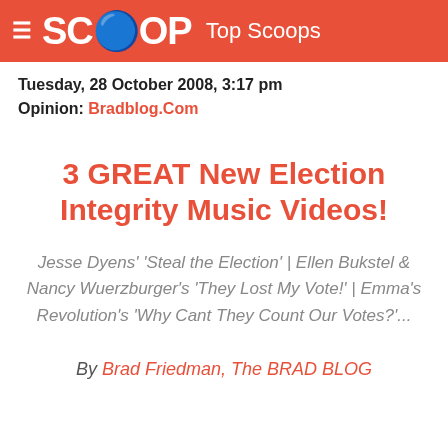SCOOP Top Scoops
Tuesday, 28 October 2008, 3:17 pm
Opinion: Bradblog.Com
3 GREAT New Election Integrity Music Videos!
Jesse Dyens' 'Steal the Election' | Ellen Bukstel & Nancy Wuerzburger's 'They Lost My Vote!' | Emma's Revolution's 'Why Cant They Count Our Votes?'...
By Brad Friedman, The BRAD BLOG